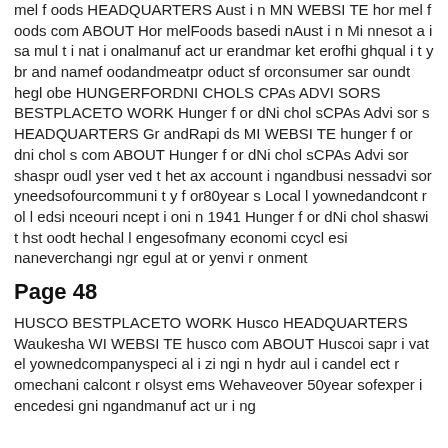mel f oods HEADQUARTERS Aust i n MN WEBSI TE hor mel f oods com ABOUT Hor melFoods basedi nAust i n Mi nnesot a i sa mul t i nat i onalmanuf act ur erandmar ket erofhi ghqual i t y br and namef oodandmeatpr oduct sf orconsumer sar oundt hegl obe HUNGERFORDNI CHOLS CPAs ADVI SORS BESTPLACETO WORK Hunger f or dNi chol sCPAs Advi sor s HEADQUARTERS Gr andRapi ds MI WEBSI TE hunger f or dni chol s com ABOUT Hunger f or dNi chol sCPAs Advi sor shaspr oudl yser ved t het ax account i ngandbusi nessadvi sor yneedsofourcommuni t y f or80year s Local l yownedandcont r ol l edsi nceouri ncept i oni n 1941 Hunger f or dNi chol shaswi t hst oodt hechal l engesofmany economi ccycl esi naneverchangi ngr egul at or yenvi r onment
Page 48
HUSCO BESTPLACETO WORK Husco HEADQUARTERS Waukesha WI WEBSI TE husco com ABOUT Huscoi sapr i vat el yownedcompanyspeci al i zi ngi n hydr aul i candel ect r omechani calcont r olsyst ems Wehaveover 50year sofexper i encedesi gni ngandmanuf act ur i ng